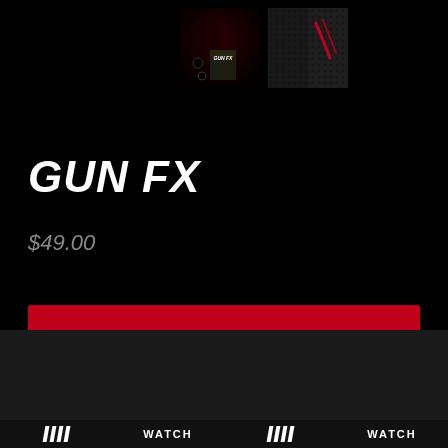[Figure (photo): Two product thumbnail images: left shows GUN FX product box with dark horror graphics, right shows a dark textured surface with red slash/scratch marks]
GUN FX
$49.00
ADD TO CART
/ / / /   WATCH   / / / /   WATCH